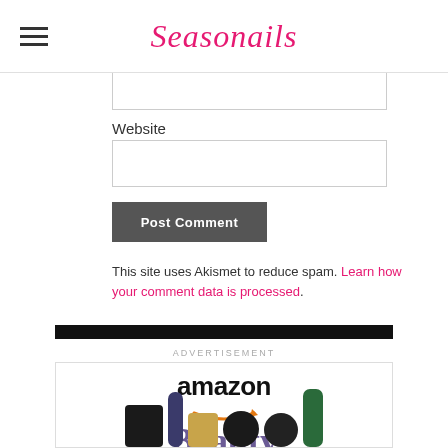Seasonails
Website
Post Comment
This site uses Akismet to reduce spam. Learn how your comment data is processed.
ADVERTISEMENT
[Figure (advertisement): Amazon Beauty Editors' Picks advertisement with amazon logo, orange arrow smile, purple Beauty Editors' Picks text, Shop now link, and beauty product images at the bottom]